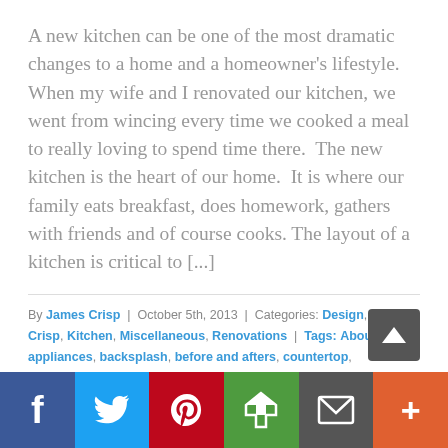A new kitchen can be one of the most dramatic changes to a home and a homeowner's lifestyle.  When my wife and I renovated our kitchen, we went from wincing every time we cooked a meal to really loving to spend time there.  The new kitchen is the heart of our home.  It is where our family eats breakfast, does homework, gathers with friends and of course cooks. The layout of a kitchen is critical to [...]
By James Crisp | October 5th, 2013 | Categories: Design, James Crisp, Kitchen, Miscellaneous, Renovations | Tags: About Us, appliances, backsplash, before and afters, countertop, farmhouse, flooring, home design, Kitchen, kitchen dining, new home, painted cabinets, Renovations, table, traditional, updated | 2 Comments
Read More >